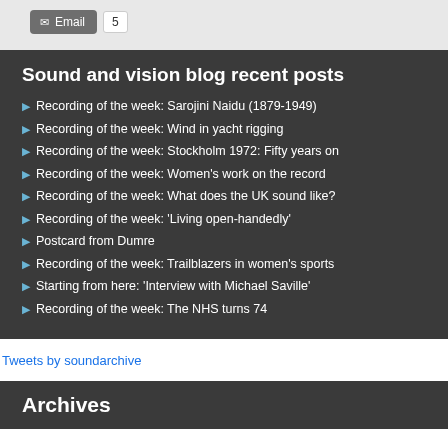[Figure (other): Email button with envelope icon and count badge showing '5']
Sound and vision blog recent posts
Recording of the week: Sarojini Naidu (1879-1949)
Recording of the week: Wind in yacht rigging
Recording of the week: Stockholm 1972: Fifty years on
Recording of the week: Women's work on the record
Recording of the week: What does the UK sound like?
Recording of the week: 'Living open-handedly'
Postcard from Dumre
Recording of the week: Trailblazers in women's sports
Starting from here: 'Interview with Michael Saville'
Recording of the week: The NHS turns 74
Tweets by soundarchive
Archives